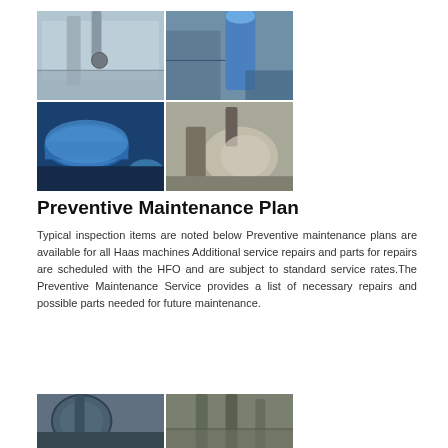[Figure (photo): 2x2 grid of industrial equipment photos showing ventilation/dust collection systems, large blue cylindrical tanks with motors, and powder/dust processing machinery]
Preventive Maintenance Plan
Typical inspection items are noted below Preventive maintenance plans are available for all Haas machines Additional service repairs and parts for repairs are scheduled with the HFO and are subject to standard service rates.The Preventive Maintenance Service provides a list of necessary repairs and possible parts needed for future maintenance.
[Figure (photo): Two industrial facility photos showing dust collection equipment and large processing tanks]